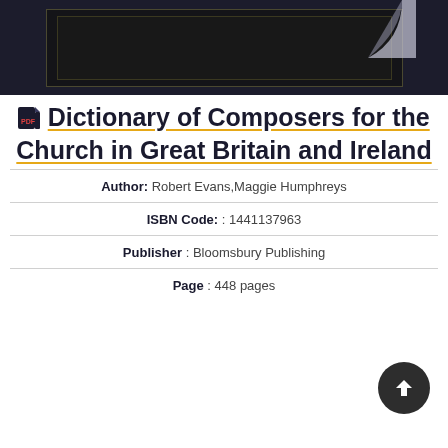[Figure (photo): Book cover image showing a dark/black book with gold border on dark background, with a page curl visible at top right corner.]
Dictionary of Composers for the Church in Great Britain and Ireland
Author: Robert Evans,Maggie Humphreys
ISBN Code: : 1441137963
Publisher : Bloomsbury Publishing
Page : 448 pages